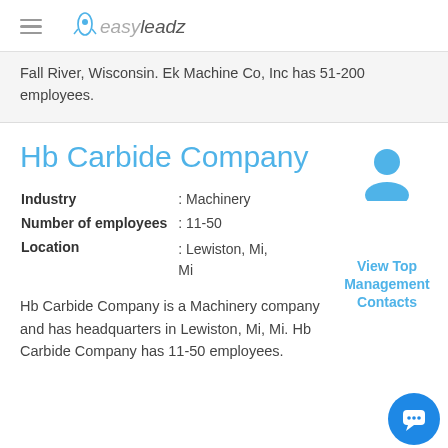easy leadz
Fall River, Wisconsin. Ek Machine Co, Inc has 51-200 employees.
Hb Carbide Company
Industry : Machinery
Number of employees : 11-50
Location : Lewiston, Mi, Mi
View Top Management Contacts
Hb Carbide Company is a Machinery company and has headquarters in Lewiston, Mi, Mi. Hb Carbide Company has 11-50 employees.